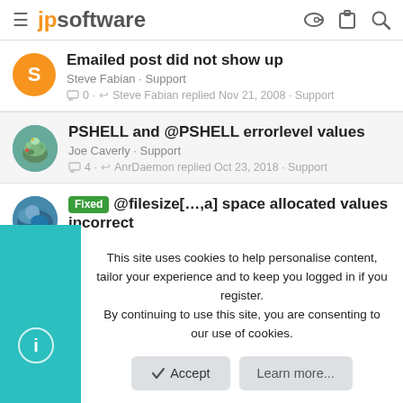jpsoftware
Emailed post did not show up
Steve Fabian · Support
0 · Steve Fabian replied Nov 21, 2008 · Support
PSHELL and @PSHELL errorlevel values
Joe Caverly · Support
4 · AnrDaemon replied Oct 23, 2018 · Support
Fixed @filesize[…,a] space allocated values incorrect
rps · Support
2 · rps replied Aug 10, 2018 · Support
This site uses cookies to help personalise content, tailor your experience and to keep you logged in if you register. By continuing to use this site, you are consenting to our use of cookies.
Accept
Learn more...